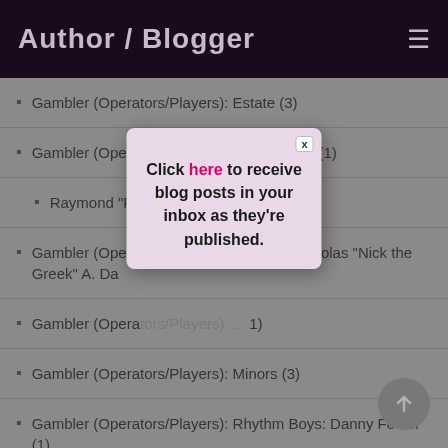Author / Blogger
Gambler (Operators/Players): Estate (3)
Gambler (Operators/Players): High Rollers (1)
Raymond "Ra...
Gambler (Operators/Players): Nicholas "Nick the Greek" A. Da... ers: Nicholas "Nick the Greek" A. Da...
Gambler (Operators/Players): ... (1)
Gambler (Operators/Players): Minors (3)
Gambler (Operators/Players): Rhythm Boys: Danny Foster (1)
[Figure (screenshot): Modal popup with text: Click here to receive blog posts in your inbox as they're published. Has a close X button.]